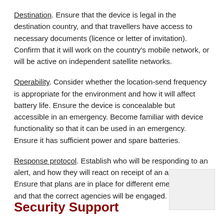Destination. Ensure that the device is legal in the destination country, and that travellers have access to necessary documents (licence or letter of invitation). Confirm that it will work on the country's mobile network, or will be active on independent satellite networks.
Operability. Consider whether the location-send frequency is appropriate for the environment and how it will affect battery life. Ensure the device is concealable but accessible in an emergency. Become familiar with device functionality so that it can be used in an emergency. Ensure it has sufficient power and spare batteries.
Response protocol. Establish who will be responding to an alert, and how they will react on receipt of an alert signal. Ensure that plans are in place for different emergencies, and that the correct agencies will be engaged.
Security Support